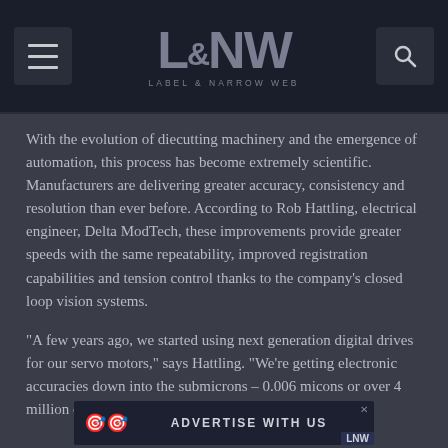L&NW LABEL & NARROW WEB
With the evolution of diecutting machinery and the emergence of automation, this process has become extremely scientific. Manufacturers are delivering greater accuracy, consistency and resolution than ever before. According to Rob Hattling, electrical engineer, Delta ModTech, these improvements provide greater speeds with the same repeatability, improved registration capabilities and tension control thanks to the company's closed loop vision systems.
“A few years ago, we started using next generation digital drives for our servo motors,” says Hattling. “We’re getting electronic accuracies down into the submicrons – 0.006 micons or over 4 million counts/inch.”
[Figure (other): ADVERTISE WITH US banner advertisement at bottom of page]